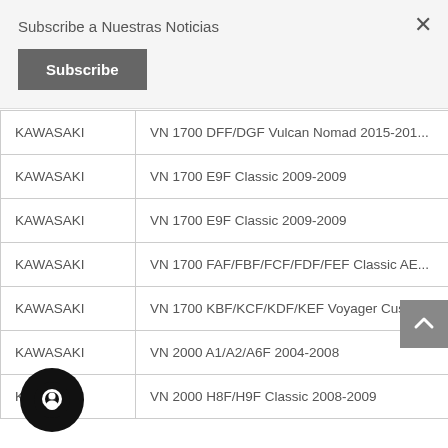Subscribe a Nuestras Noticias
Subscribe
| Brand | Model |
| --- | --- |
| KAWASAKI | VN 1700 DFF/DGF Vulcan Nomad 2015-201... |
| KAWASAKI | VN 1700 E9F Classic 2009-2009 |
| KAWASAKI | VN 1700 E9F Classic 2009-2009 |
| KAWASAKI | VN 1700 FAF/FBF/FCF/FDF/FEF Classic AE... |
| KAWASAKI | VN 1700 KBF/KCF/KDF/KEF Voyager Custo... |
| KAWASAKI | VN 2000 A1/A2/A6F 2004-2008 |
| KAWASAKI | VN 2000 H8F/H9F Classic 2008-2009 |